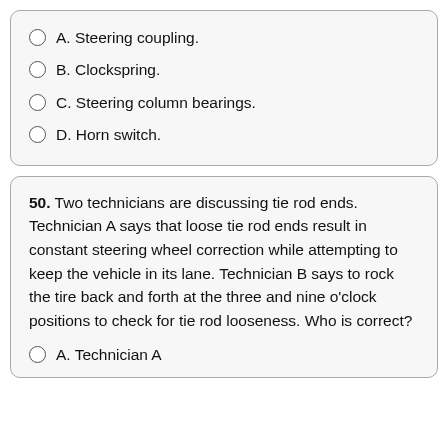A. Steering coupling.
B. Clockspring.
C. Steering column bearings.
D. Horn switch.
50. Two technicians are discussing tie rod ends. Technician A says that loose tie rod ends result in constant steering wheel correction while attempting to keep the vehicle in its lane. Technician B says to rock the tire back and forth at the three and nine o’clock positions to check for tie rod looseness. Who is correct?
A. Technician A